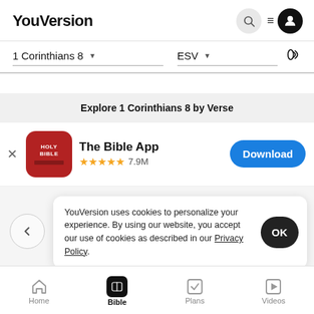YouVersion
1 Corinthians 8   ESV
Explore 1 Corinthians 8 by Verse
[Figure (screenshot): App store banner for The Bible App with HOLY BIBLE icon, 4.5 stars 7.9M rating, and Download button]
YouVersion uses cookies to personalize your experience. By using our website, you accept our use of cookies as described in our Privacy Policy.
Home  Bible  Plans  Videos